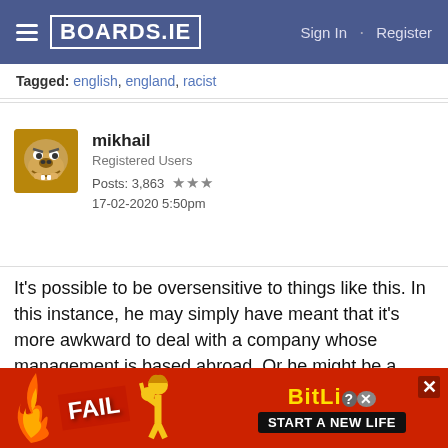BOARDS.IE  Sign In · Register
Tagged: english, england, racist
mikhail
Registered Users
Posts: 3,863 ★★★
17-02-2020 5:50pm
It's possible to be oversensitive to things like this. In this instance, he may simply have meant that it's more awkward to deal with a company whose management is based abroad. Or he might be a racist ****. It's simply not possible to tell from that lone statement.
joseywhalos
[Figure (screenshot): BitLife advertisement banner: red background with FAIL text, cartoon character, flames, BitLife logo with question mark and X icons, and 'START A NEW LIFE' text on black bar]